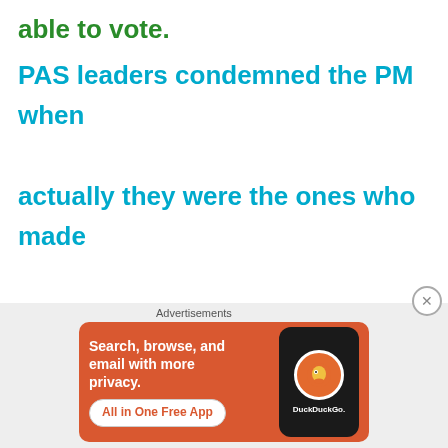able to vote.
PAS leaders condemned the PM when actually they were the ones who made the guess of when the 13GE will be held!
Advertisements
[Figure (screenshot): DuckDuckGo advertisement banner: orange background with text 'Search, browse, and email with more privacy. All in One Free App' and a phone showing the DuckDuckGo logo]